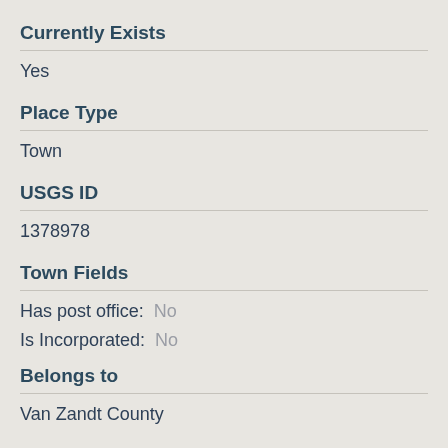Currently Exists
Yes
Place Type
Town
USGS ID
1378978
Town Fields
Has post office:  No
Is Incorporated:  No
Belongs to
Van Zandt County
Associated Names